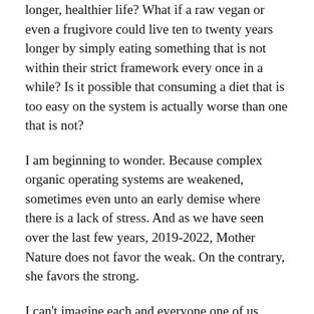longer, healthier life? What if a raw vegan or even a frugivore could live ten to twenty years longer by simply eating something that is not within their strict framework every once in a while? Is it possible that consuming a diet that is too easy on the system is actually worse than one that is not?
I am beginning to wonder. Because complex organic operating systems are weakened, sometimes even unto an early demise where there is a lack of stress. And as we have seen over the last few years, 2019-2022, Mother Nature does not favor the weak. On the contrary, she favors the strong.
I can't imagine each and everyone one of us hasn't heard this many times over. Kelly Clarkson made a hit song with this title in 2011. It's not just a catchy song, it is also a very true statement within a complex system that has the ability to adapt. In the